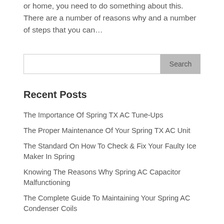or home, you need to do something about this. There are a number of reasons why and a number of steps that you can…
Recent Posts
The Importance Of Spring TX AC Tune-Ups
The Proper Maintenance Of Your Spring TX AC Unit
The Standard On How To Check & Fix Your Faulty Ice Maker In Spring
Knowing The Reasons Why Spring AC Capacitor Malfunctioning
The Complete Guide To Maintaining Your Spring AC Condenser Coils